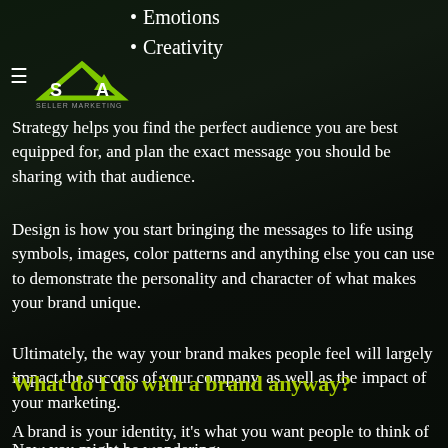Emotions
Creativity
[Figure (logo): SA Marketing logo with green arrow chart graphic and hamburger menu icon]
Strategy helps you find the perfect audience you are best equipped for, and plan the exact message you should be sharing with that audience.
Design is how you start bringing the messages to life using symbols, images, color patterns and anything else you can use to demonstrate the personality and character of what makes your brand unique.
Ultimately, the way your brand makes people feel will largely impact the success of your company, as well as the impact of your marketing.
Now you might be wondering:
What do I do with a brand anyway?
A brand is your identity, it's what you want people to think of